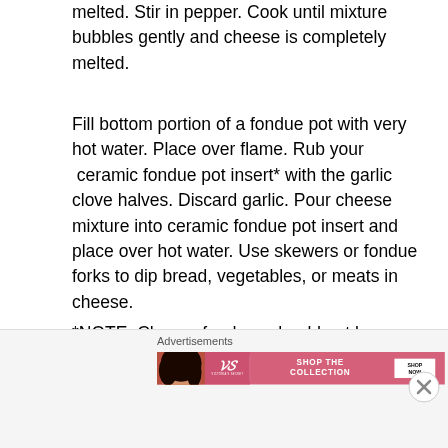melted. Stir in pepper. Cook until mixture bubbles gently and cheese is completely melted.
Fill bottom portion of a fondue pot with very hot water. Place over flame. Rub your  ceramic fondue pot insert* with the garlic clove halves. Discard garlic. Pour cheese mixture into ceramic fondue pot insert and place over hot water. Use skewers or fondue forks to dip bread, vegetables, or meats in cheese.
*NOTE: Cheese fondues should not be placed directly over a flame. They will burn or clump easily. If your fondue pot does not have a ceramic insert (allowing you to create a double boiler), use a glass or ceramic
Advertisements
[Figure (advertisement): Victoria's Secret advertisement banner with a woman's face, VS logo, 'SHOP THE COLLECTION' text, and 'SHOP NOW' button]